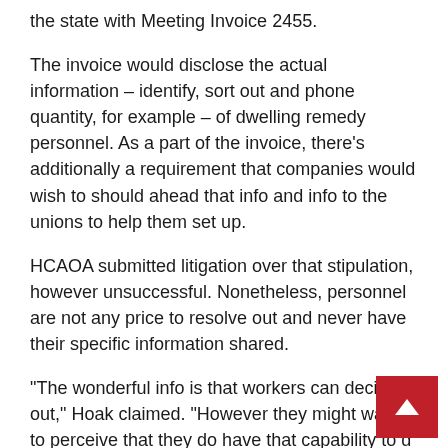the state with Meeting Invoice 2455.
The invoice would disclose the actual information – identify, sort out and phone quantity, for example – of dwelling remedy personnel. As a part of the invoice, there's additionally a requirement that companies would wish to should ahead that info and info to the unions to help them set up.
HCAOA submitted litigation over that stipulation, however unsuccessful. Nonetheless, personnel are not any price to resolve out and never have their specific information shared.
“The wonderful info is that workers can decide out,” Hoak claimed. “However they might want to perceive that they do have that capability to d out, that implies that they’ll say, ‘I actually don need my personal info and info shared.’”